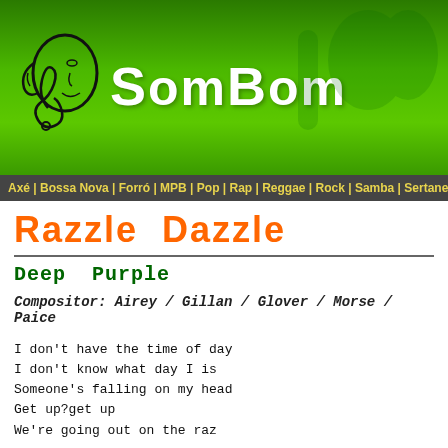[Figure (logo): SomBom website header banner with green background, musical note logo on left, and 'SomBom' text in white bold letters]
Axé | Bossa Nova | Forró | MPB | Pop | Rap | Reggae | Rock | Samba | Sertanejo | MA
Razzle Dazzle
Deep Purple
Compositor: Airey / Gillan / Glover / Morse / Paice
I don't have the time of day
I don't know what day I is
Someone's falling on my head
Get up?get up
We're going out on the raz
Razzle dazzle
Call it what you want
To me it don't matter
It's where I belong
It's a matter of distinction
A real fine line
Between an orgy of destruction
And a wonderful time